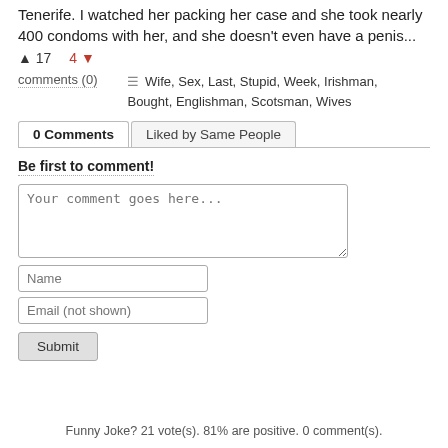Tenerife. I watched her packing her case and she took nearly 400 condoms with her, and she doesn't even have a penis...
▲ 17    4 ▼
comments (0)
☰ Wife, Sex, Last, Stupid, Week, Irishman, Bought, Englishman, Scotsman, Wives
0 Comments | Liked by Same People
Be first to comment!
Your comment goes here...
Name
Email (not shown)
Submit
Funny Joke? 21 vote(s). 81% are positive. 0 comment(s).